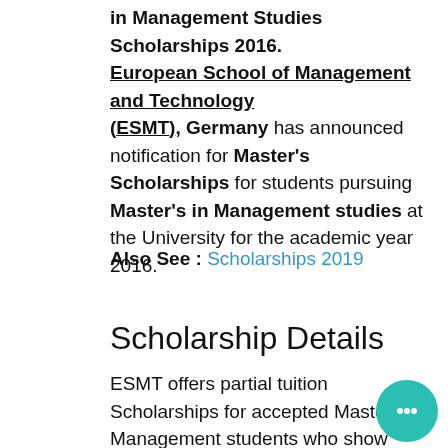in Management Studies Scholarships 2016. European School of Management and Technology (ESMT), Germany has announced notification for Master's Scholarships for students pursuing Master's in Management studies at the University for the academic year 2016.
Also See : Scholarships 2019
Scholarship Details
ESMT offers partial tuition Scholarships for accepted Master's in Management students who show academic merit
Scholarship has the value upto € 10,000